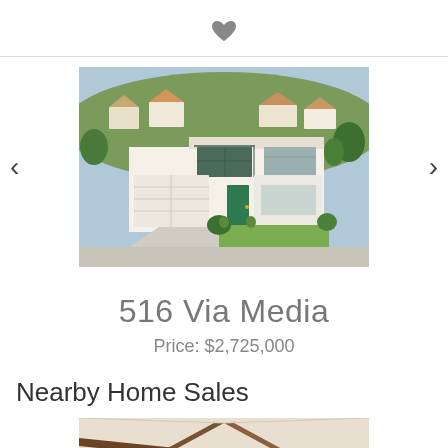[Figure (illustration): Heart/favorite icon centered at top]
[Figure (photo): Exterior photo of a white two-story house with green front door, double garage, green lawn, hillside with homes in background]
516 Via Media
Price: $2,725,000
Nearby Home Sales
[Figure (photo): Interior ceiling photo showing wooden beam cross structure with recessed lights]